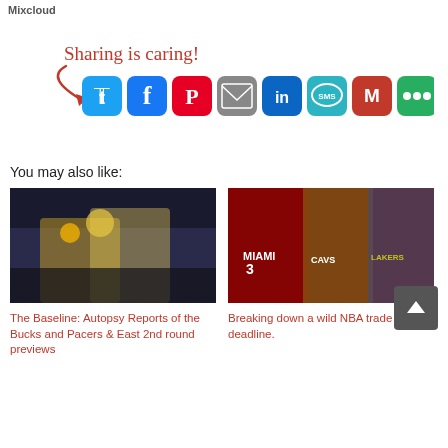Mixcloud
[Figure (infographic): Sharing is caring! social share buttons: Twitter, Facebook, Pinterest, Email, LinkedIn, SMS, Gmail, More]
You may also like:
[Figure (photo): Basketball players in action, Bucks vs Pacers game]
The Baseline: Autopsy Reports of the Bucks and Pacers & East 2nd round previews
[Figure (photo): NBA players including Miami Heat, Cleveland Cavaliers, Los Angeles Lakers jerseys]
Breaking down a wild NBA trade deadline.